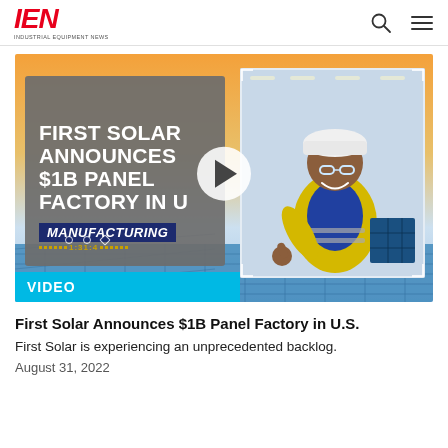IEN — INDUSTRIAL EQUIPMENT NEWS
[Figure (screenshot): Video thumbnail for 'First Solar Announces $1B Panel Factory in U.S.' showing a gray card with bold white text overlay, a worker in a yellow safety vest and white hard hat giving a thumbs up, solar panels in the background, a play button, the MANUFACTURING badge, and a VIDEO label bar at the bottom.]
First Solar Announces $1B Panel Factory in U.S.
First Solar is experiencing an unprecedented backlog.
August 31, 2022